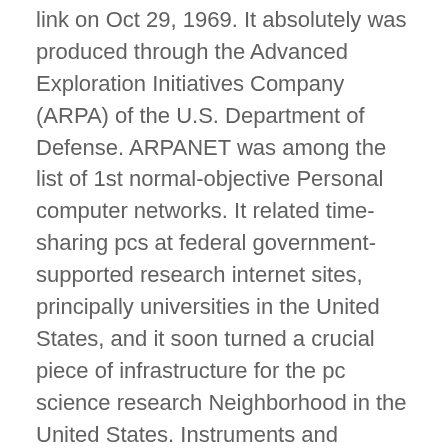link on Oct 29, 1969. It absolutely was produced through the Advanced Exploration Initiatives Company (ARPA) of the U.S. Department of Defense. ARPANET was among the list of 1st normal-objective Personal computer networks. It related time-sharing pcs at federal government-supported research internet sites, principally universities in the United States, and it soon turned a crucial piece of infrastructure for the pc science research Neighborhood in the United States. Instruments and applications—including the very simple mail transfer protocol (SMTP, generally referred to as e-mail), for sending small messages, as well as file transfer protocol (FTP), for for a longer period transmissions—speedily emerged. In an effort to accomplish Charge-helpful interactive communications between pcs, which typically talk To put it briefly bursts of knowledge, ARPANET employed the new technological know-how of packet switching. Packet switching requires massive messages (or chunks of Personal computer data) and